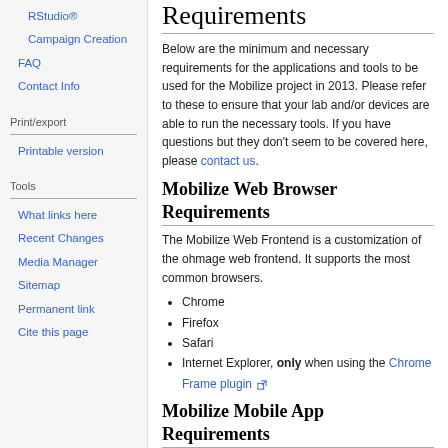RStudio®
Campaign Creation
FAQ
Contact Info
Print/export
Printable version
Tools
What links here
Recent Changes
Media Manager
Sitemap
Permanent link
Cite this page
Requirements
Below are the minimum and necessary requirements for the applications and tools to be used for the Mobilize project in 2013. Please refer to these to ensure that your lab and/or devices are able to run the necessary tools. If you have questions but they don't seem to be covered here, please contact us.
Mobilize Web Browser Requirements
The Mobilize Web Frontend is a customization of the ohmage web frontend. It supports the most common browsers.
Chrome
Firefox
Safari
Internet Explorer, only when using the Chrome Frame plugin
Mobilize Mobile App Requirements